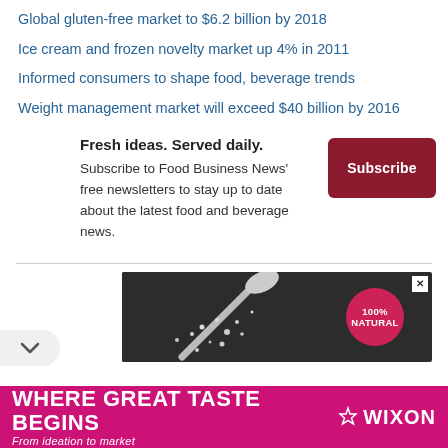Global gluten-free market to $6.2 billion by 2018
Ice cream and frozen novelty market up 4% in 2011
Informed consumers to shape food, beverage trends
Weight management market will exceed $40 billion by 2016
Fresh ideas. Served daily. Subscribe to Food Business News' free newsletters to stay up to date about the latest food and beverage news.
[Figure (infographic): Advertisement banner showing a scoop with powder on dark background, pink 100% NATURAL badge]
[Figure (infographic): Wixon advertisement: WHERE GREAT TASTE BEGINS, From ideation to market, with food images on pink/magenta background]